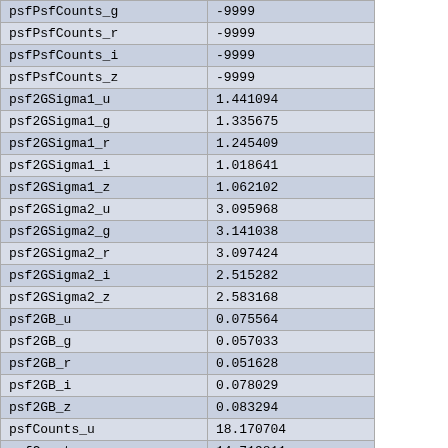| psfPsfCounts_g | -9999 |
| psfPsfCounts_r | -9999 |
| psfPsfCounts_i | -9999 |
| psfPsfCounts_z | -9999 |
| psf2GSigma1_u | 1.441094 |
| psf2GSigma1_g | 1.335675 |
| psf2GSigma1_r | 1.245409 |
| psf2GSigma1_i | 1.018641 |
| psf2GSigma1_z | 1.062102 |
| psf2GSigma2_u | 3.095968 |
| psf2GSigma2_g | 3.141038 |
| psf2GSigma2_r | 3.097424 |
| psf2GSigma2_i | 2.515282 |
| psf2GSigma2_z | 2.583168 |
| psf2GB_u | 0.075564 |
| psf2GB_g | 0.057033 |
| psf2GB_r | 0.051628 |
| psf2GB_i | 0.078029 |
| psf2GB_z | 0.083294 |
| psfCounts_u | 18.170704 |
| psfCounts_g | 14.719811 |
| psfCounts_r | 12.882874 |